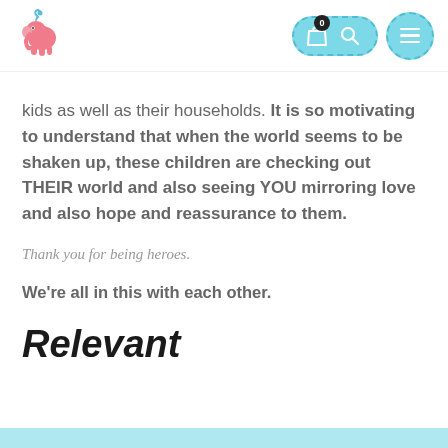[Figure (logo): Pink elephant logo with teal heart above head]
[Figure (screenshot): Navigation icons: pill-shaped button with shopping bag and key icons, badge showing 0, and circle button with hamburger menu]
kids as well as their households. It is so motivating to understand that when the world seems to be shaken up, these children are checking out THEIR world and also seeing YOU mirroring love and also hope and reassurance to them.
Thank you for being heroes.
We're all in this with each other.
Relevant